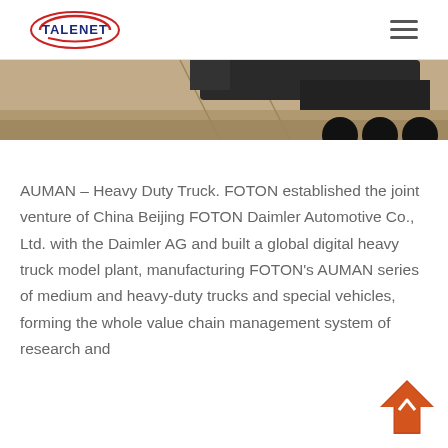TALENET (logo) [hamburger menu]
[Figure (photo): Partial view of a heavy-duty truck on a road/surface, cropped at the top of the page. Warm beige/tan tones of ground surface with dark truck body visible.]
AUMAN – Heavy Duty Truck. FOTON established the joint venture of China Beijing FOTON Daimler Automotive Co., Ltd. with the Daimler AG and built a global digital heavy truck model plant, manufacturing FOTON's AUMAN series of medium and heavy-duty trucks and special vehicles, forming the whole value chain management system of research and